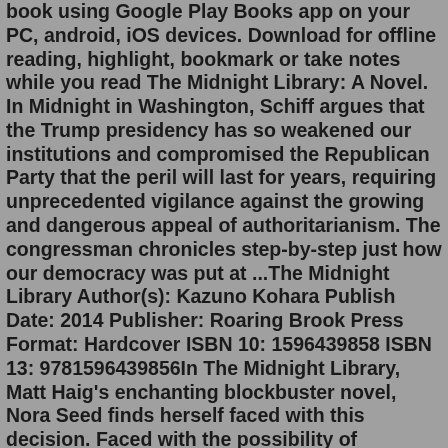book using Google Play Books app on your PC, android, iOS devices. Download for offline reading, highlight, bookmark or take notes while you read The Midnight Library: A Novel. In Midnight in Washington, Schiff argues that the Trump presidency has so weakened our institutions and compromised the Republican Party that the peril will last for years, requiring unprecedented vigilance against the growing and dangerous appeal of authoritarianism. The congressman chronicles step-by-step just how our democracy was put at ...The Midnight Library Author(s): Kazuno Kohara Publish Date: 2014 Publisher: Roaring Brook Press Format: Hardcover ISBN 10: 1596439858 ISBN 13: 9781596439856In The Midnight Library, Matt Haig's enchanting blockbuster novel, Nora Seed finds herself faced with this decision. Faced with the possibility of changing her life for a new one, following a different career, undoing old breakups, realizing her dreams of becoming a glaciologist; she must search within herself as she travels through the ...Praise for The